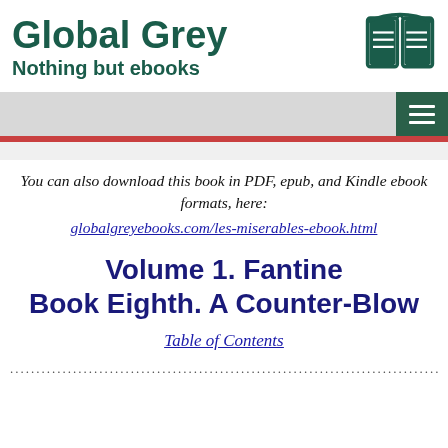[Figure (logo): Global Grey ebooks logo with book icon and text 'Global Grey / Nothing but ebooks']
[Figure (screenshot): Navigation bar with hamburger menu button on dark green background]
You can also download this book in PDF, epub, and Kindle ebook formats, here:
globalgreyebooks.com/les-miserables-ebook.html
Volume 1. Fantine
Book Eighth. A Counter-Blow
Table of Contents
...............................................................................